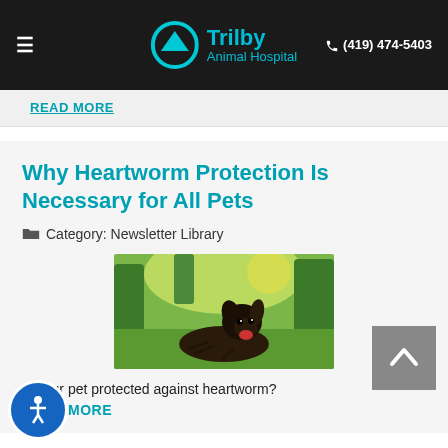Trilby Animal Hospital — (419) 474-5403
READ MORE
Why Heartworm Protection Is Necessary for All Pets
Category: Newsletter Library
[Figure (photo): A dark-colored dog lying on grass in a park with sunlight and green trees in the background, mouth open and tongue out.]
Is your pet protected against heartworm?
READ MORE